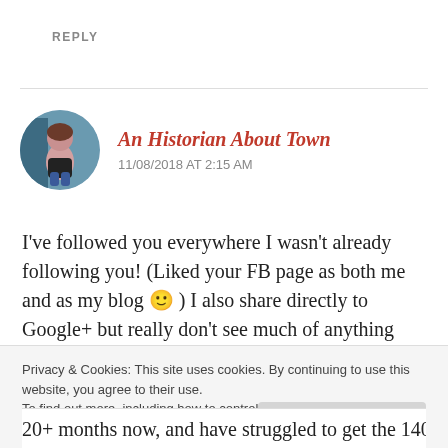REPLY
An Historian About Town
11/08/2018 AT 2:15 AM
I've followed you everywhere I wasn't already following you! (Liked your FB page as both me and as my blog 🙂 ) I also share directly to Google+ but really don't see much of anything from it, and any time I go to look for
Privacy & Cookies: This site uses cookies. By continuing to use this website, you agree to their use.
To find out more, including how to control cookies, see here: Cookie Policy
Close and accept
20+ months now, and have struggled to get the 140